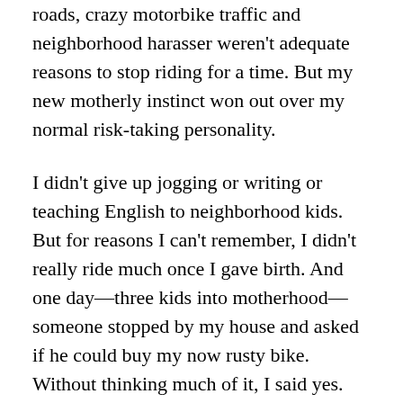roads, crazy motorbike traffic and neighborhood harasser weren't adequate reasons to stop riding for a time. But my new motherly instinct won out over my normal risk-taking personality.
I didn't give up jogging or writing or teaching English to neighborhood kids. But for reasons I can't remember, I didn't really ride much once I gave birth. And one day—three kids into motherhood—someone stopped by my house and asked if he could buy my now rusty bike. Without thinking much of it, I said yes.
Life filled with kids and culture and small airplanes and jungle adventures and serving and I didn't really miss the bike. The next time I touched one, I was holding the back of my son's bike, holding it steady, urging him to pedal, telling him to be brave.